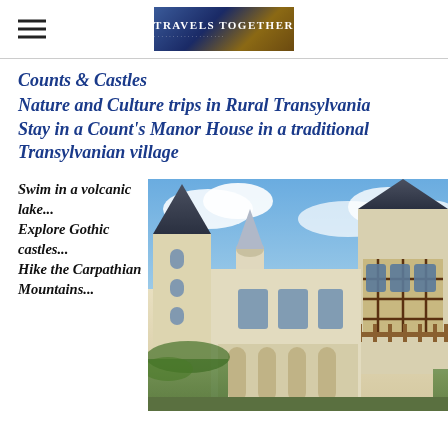TRAVELS TOGETHER
Counts & Castles
Nature and Culture trips in Rural Transylvania
Stay in a Count's Manor House in a traditional Transylvanian village
Swim in a volcanic lake... Explore Gothic castles... Hike the Carpathian Mountains...
[Figure (photo): Castle with Gothic towers, ornate balconies, and ivy-covered walls against a cloudy blue sky — Peles Castle, Transylvania, Romania]